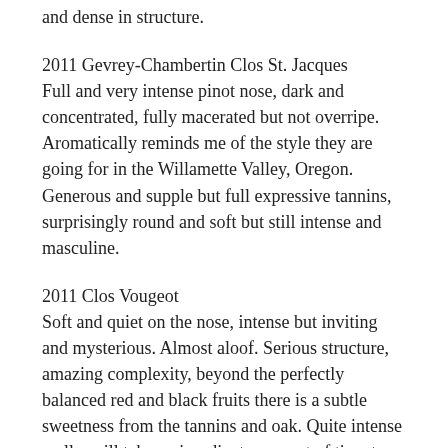and dense in structure.
2011 Gevrey-Chambertin Clos St. Jacques Full and very intense pinot nose, dark and concentrated, fully macerated but not overripe. Aromatically reminds me of the style they are going for in the Willamette Valley, Oregon. Generous and supple but full expressive tannins, surprisingly round and soft but still intense and masculine.
2011 Clos Vougeot Soft and quiet on the nose, intense but inviting and mysterious. Almost aloof. Serious structure, amazing complexity, beyond the perfectly balanced red and black fruits there is a subtle sweetness from the tannins and oak. Quite intense really, will take an inordinate amount of time to truly express itself.